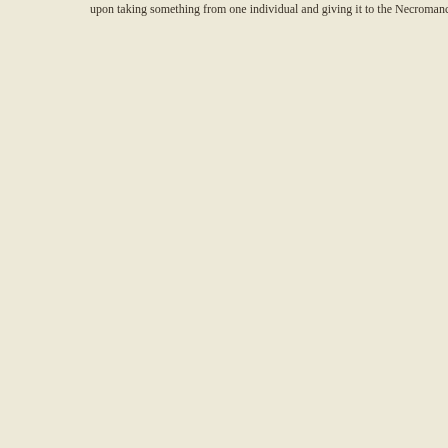upon taking something from one individual and giving it to the Necromancer u